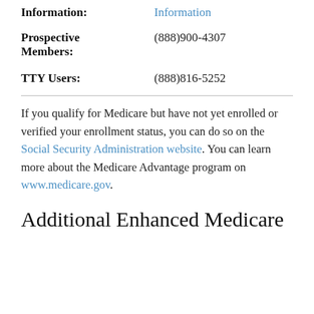Information: | Information
Prospective Members: | (888)900-4307
TTY Users: | (888)816-5252
If you qualify for Medicare but have not yet enrolled or verified your enrollment status, you can do so on the Social Security Administration website. You can learn more about the Medicare Advantage program on www.medicare.gov.
Additional Enhanced Medicare